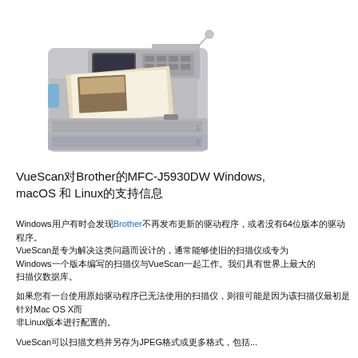[Figure (photo): Photo of a Brother MFC-J5930DW all-in-one inkjet printer in grey, shown from a front-left angle with paper loaded.]
VueScan对Brother的MFC-J5930DW Windows, macOS 和 Linux的支持信息
Windows用户有时会发现Brother不再发布更新的驱动程序，或者没有64位版本的驱动程序。VueScan是专为解决这类问题而设计的，通常能够使旧的扫描仪或专为Windows一个版本编写的扫描仪与VueScan一起工作。我们具有世界上最大的扫描仪数据库。
如果您有一台使用原始驱动程序已无法使用的扫描仪，则很可能是因为该扫描仪最初是针对Mac OS X而非Linux版本进行配置的。
VueScan可以扫描文档并另存为JPEG格式或更多格式，包括...